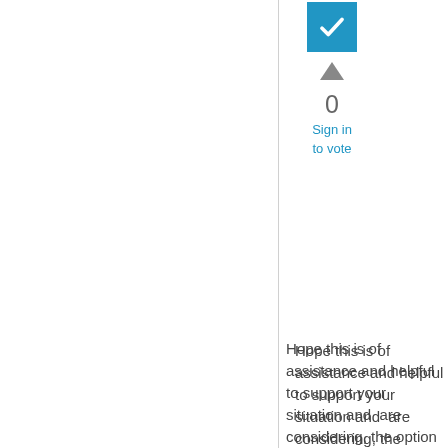[Figure (other): Blue checkbox/checkmark icon]
[Figure (other): Upward pointing triangle arrow icon for upvoting]
0
Sign in to vote
Hope this is of assistance and helpful to support your situation and  are considering, the option does sound technically feasible and do able, please consider the below:
+ Site to Site Communication
+ Site Server <-- to -- > Site System , By default, communication between the site server and site systems is bi- port 445
+ Site Server <-- to -->  Sofware